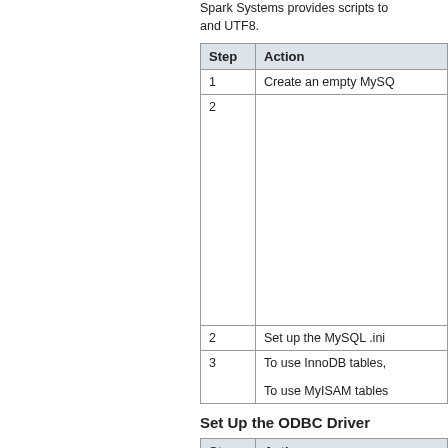Spark Systems provides scripts to ... and UTF8.
| Step | Action |
| --- | --- |
| 1 | Create an empty MySQL... |
| 2 | Set up the MySQL .ini... |
| 3 | To use InnoDB tables, ...
To use MyISAM tables... |
Set Up the ODBC Driver
| Step | Action |
| --- | --- |
| 1 | Create a suitable ODB...
Select these checkboxes:
• 'Return matched...
• 'Allow big resu... |